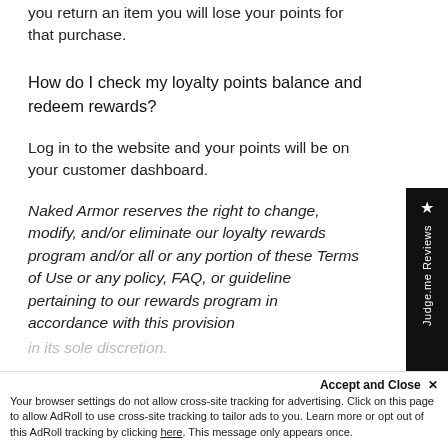you return an item you will lose your points for that purchase.
How do I check my loyalty points balance and redeem rewards?
Log in to the website and your points will be on your customer dashboard.
Naked Armor reserves the right to change, modify and/or eliminate our loyalty rewards program and/or all or any portion of these Terms of Use or any policy, FAQ, or guideline pertaining to our rewards program in accordance with this provision
in its sole discretion.
★ Judge.me Reviews
Accept and Close ✕
Your browser settings do not allow cross-site tracking for advertising. Click on this page to allow AdRoll to use cross-site tracking to tailor ads to you. Learn more or opt out of this AdRoll tracking by clicking here. This message only appears once.